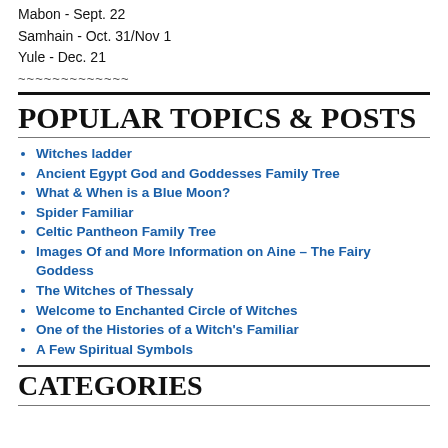Mabon - Sept. 22
Samhain - Oct. 31/Nov 1
Yule - Dec. 21
~~~~~~~~~~~~~
POPULAR TOPICS & POSTS
Witches ladder
Ancient Egypt God and Goddesses Family Tree
What & When is a Blue Moon?
Spider Familiar
Celtic Pantheon Family Tree
Images Of and More Information on Aine – The Fairy Goddess
The Witches of Thessaly
Welcome to Enchanted Circle of Witches
One of the Histories of a Witch's Familiar
A Few Spiritual Symbols
CATEGORIES